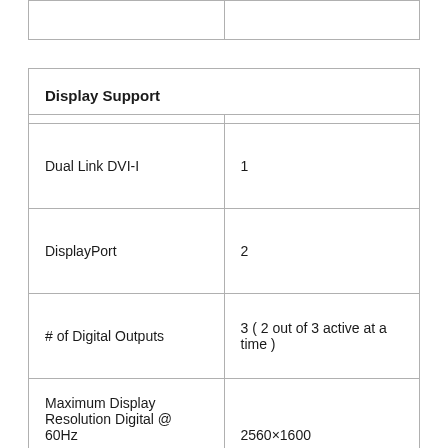|  |  |
| Display Support |  |
| Dual Link DVI-I | 1 |
| DisplayPort | 2 |
| # of Digital Outputs | 3 ( 2 out of 3 active at a time ) |
| Maximum Display Resolution Digital @ 60Hz | 2560×1600 |